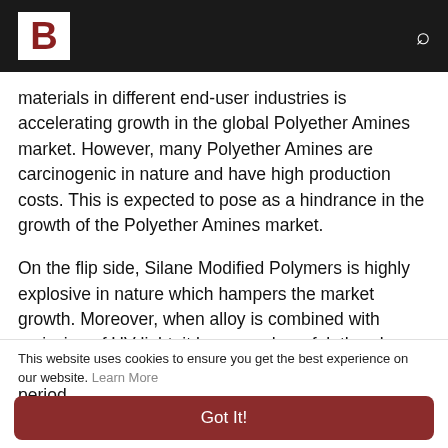B
materials in different end-user industries is accelerating growth in the global Polyether Amines market. However, many Polyether Amines are carcinogenic in nature and have high production costs. This is expected to pose as a hindrance in the growth of the Polyether Amines market.
On the flip side, Silane Modified Polymers is highly explosive in nature which hampers the market growth. Moreover, when alloy is combined with emission of UV light, it becomes harmful, thereby impeding the market growth during the forecast period.
This website uses cookies to ensure you get the best experience on our website. Learn More
Got It!